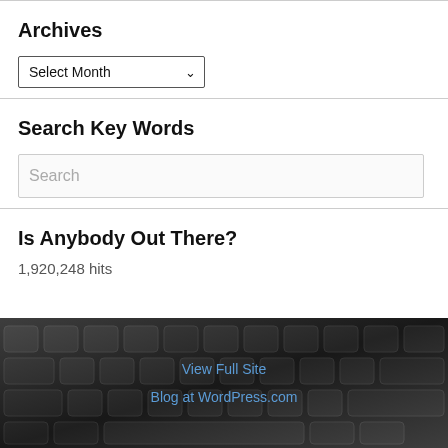Archives
Select Month
Search Key Words
Search
Is Anybody Out There?
1,920,248 hits
View Full Site
Blog at WordPress.com